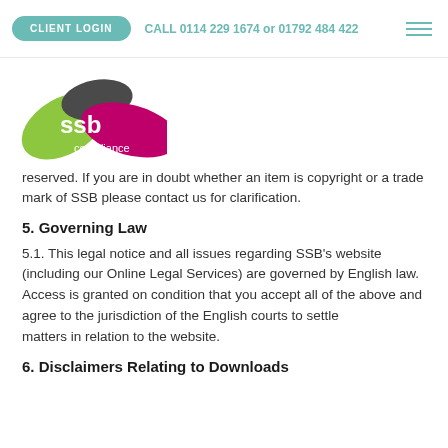CLIENT LOGIN   CALL 0114 229 1674 or 01792 484 422
[Figure (logo): SSB Compliance logo with green, dark grey and pink/magenta leaf shapes]
reserved. If you are in doubt whether an item is copyright or a trade mark of SSB please contact us for clarification.
5. Governing Law
5.1. This legal notice and all issues regarding SSB's website (including our Online Legal Services) are governed by English law.
Access is granted on condition that you accept all of the above and agree to the jurisdiction of the English courts to settle
matters in relation to the website.
6. Disclaimers Relating to Downloads